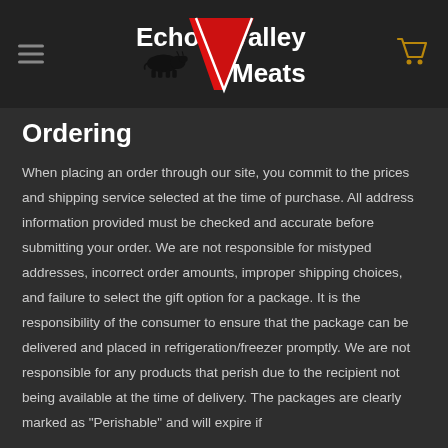Echo Valley Meats
Ordering
When placing an order through our site, you commit to the prices and shipping service selected at the time of purchase. All address information provided must be checked and accurate before submitting your order. We are not responsible for mistyped addresses, incorrect order amounts, improper shipping choices, and failure to select the gift option for a package. It is the responsibility of the consumer to ensure that the package can be delivered and placed in refrigeration/freezer promptly. We are not responsible for any products that perish due to the recipient not being available at the time of delivery. The packages are clearly marked as "Perishable" and will expire if